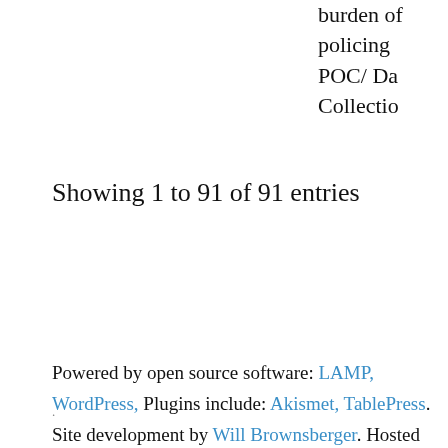burden of policing POC/ Da Collection
Showing 1 to 91 of 91 entries
Powered by open source software: LAMP, WordPress, Plugins include: Akismet, TablePress. Site development by Will Brownsberger. Hosted by Inmotion Hosting. Hosting paid for by the Brownsberger Commitee.
.